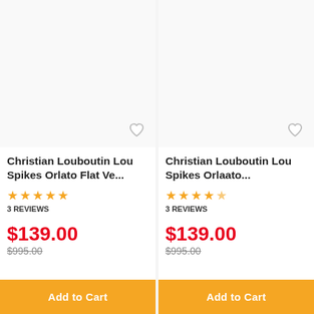[Figure (photo): Product image placeholder for Christian Louboutin Lou Spikes Orlato Flat Ve... (left card)]
Christian Louboutin Lou Spikes Orlato Flat Ve...
3 REVIEWS
$139.00
$995.00
Add to Cart
[Figure (photo): Product image placeholder for Christian Louboutin Lou Spikes Orlaato... (right card)]
Christian Louboutin Lou Spikes Orlaato...
3 REVIEWS
$139.00
$995.00
Add to Cart